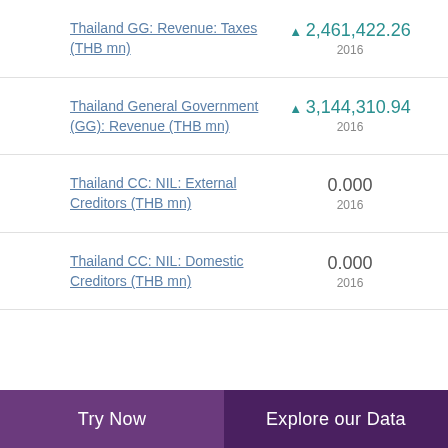Thailand GG: Revenue: Taxes (THB mn)
▲ 2,461,422.26
2016
Thailand General Government (GG): Revenue (THB mn)
▲ 3,144,310.94
2016
Thailand CC: NIL: External Creditors (THB mn)
0.000
2016
Thailand CC: NIL: Domestic Creditors (THB mn)
0.000
2016
Try Now    Explore our Data